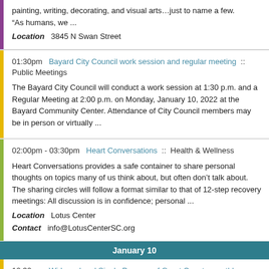painting, writing, decorating, and visual arts…just to name a few. "As humans, we ...
Location  3845 N Swan Street
01:30pm  Bayard City Council work session and regular meeting  ::  Public Meetings
The Bayard City Council will conduct a work session at 1:30 p.m. and a Regular Meeting at 2:00 p.m. on Monday, January 10, 2022 at the Bayard Community Center. Attendance of City Council members may be in person or virtually ...
02:00pm - 03:30pm  Heart Conversations  ::  Health & Wellness
Heart Conversations provides a safe container to share personal thoughts on topics many of us think about, but often don't talk about.  The sharing circles will follow a format similar to that of 12-step recovery meetings: All discussion is in confidence; personal ...
Location  Lotus Center
Contact  info@LotusCenterSC.org
January 10
10:30am  Widowed and Single Persons of Grant County monthly meeting  ::  Public Meetings
Widowed and Single Persons of Grant County monthly meeting is